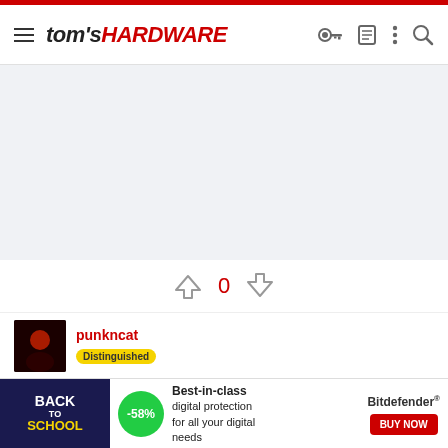tom's HARDWARE
[Figure (other): Gray ad placeholder area]
↑ 0 ↓
punkncat
[Figure (other): Back to School Bitdefender advertisement banner with -58% discount]